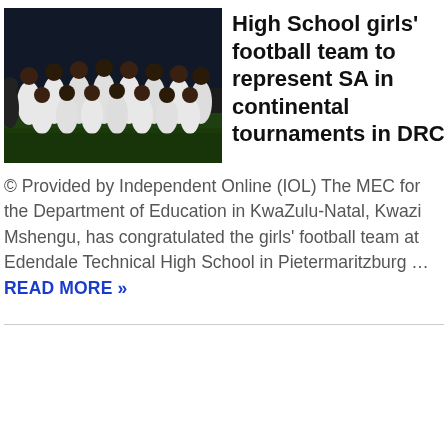[Figure (photo): Group photo of a high school girls football team in white uniforms, standing together on a field at night]
High School girls' football team to represent SA in continental tournaments in DRC
© Provided by Independent Online (IOL) The MEC for the Department of Education in KwaZulu-Natal, Kwazi Mshengu, has congratulated the girls' football team at Edendale Technical High School in Pietermaritzburg ... READ MORE »